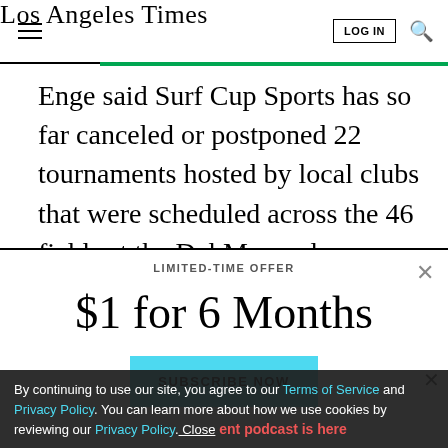Los Angeles Times
Enge said Surf Cup Sports has so far canceled or postponed 22 tournaments hosted by local clubs that were scheduled across the 46 fields at the Del Mar and Oceanside complexes, amounting to an estimated $2
LIMITED-TIME OFFER
$1 for 6 Months
SUBSCRIBE NOW
By continuing to use our site, you agree to our Terms of Service and Privacy Policy. You can learn more about how we use cookies by reviewing our Privacy Policy. Close